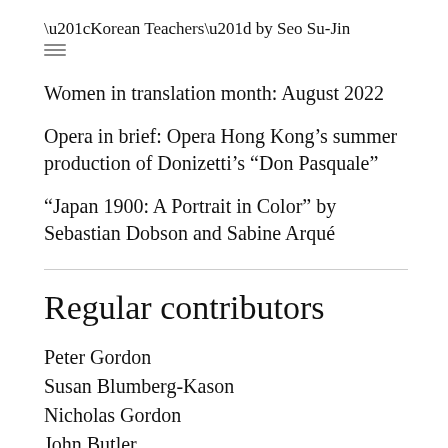“Korean Teachers” by Seo Su-Jin
Women in translation month: August 2022
Opera in brief: Opera Hong Kong’s summer production of Donizetti’s “Don Pasquale”
“Japan 1900: A Portrait in Color” by Sebastian Dobson and Sabine Arqué
Regular contributors
Peter Gordon
Susan Blumberg-Kason
Nicholas Gordon
John Butler